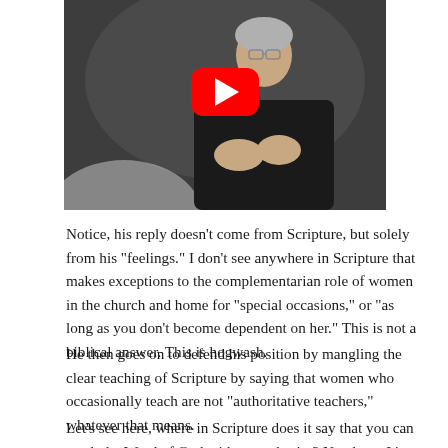[Figure (photo): Video thumbnail showing a man in a black jacket sitting in a white chair, gesturing with his hands, with a YouTube play button overlay in the center.]
Notice, his reply doesn’t come from Scripture, but solely from his “feelings.” I don’t see anywhere in Scripture that makes exceptions to the complementarian role of women in the church and home for “special occasions,” or “as long as you don’t become dependent on her.” This is not a biblical answer. This is hogwash.
He then goes on to defend his position by mangling the clear teaching of Scripture by saying that women who occasionally teach are not “authoritative teachers,” whatever that means.
Let’s see here, where in Scripture does it say that you can teach the Word of God without authority? Nowhere. It’s almost as if